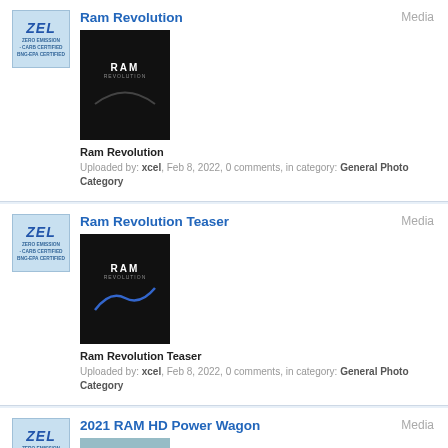Ram Revolution
Media
[Figure (photo): Thumbnail image of Ram Revolution with RAM logo on dark background]
Ram Revolution
Uploaded by: xcel, Feb 8, 2022, 0 comments, in category: General Photo Category
Ram Revolution Teaser
Media
[Figure (photo): Thumbnail image of Ram Revolution Teaser with RAM logo on dark background with blue light streak]
Ram Revolution Teaser
Uploaded by: xcel, Feb 8, 2022, 0 comments, in category: General Photo Category
2021 RAM HD Power Wagon
Media
[Figure (photo): Thumbnail image of a 2021 RAM HD Power Wagon truck]